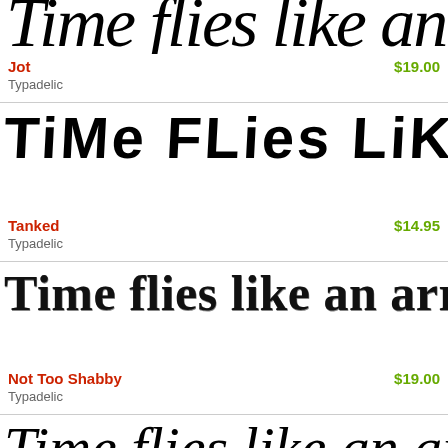[Figure (illustration): Font preview showing 'Time flies like an a' in a serif italic style, partially cropped at top]
Jot
$19.00
Typadelic
[Figure (illustration): Font preview showing 'TiMe FLies LiKe aN a' in a mixed-case decorative font called Tanked]
Tanked
$14.95
Typadelic
[Figure (illustration): Font preview showing 'Time flies like an arrow,' in a rough serif font called Not Too Shabby]
Not Too Shabby
$19.00
Typadelic
[Figure (illustration): Font preview showing 'Time flies like an arro' partially cropped at bottom]